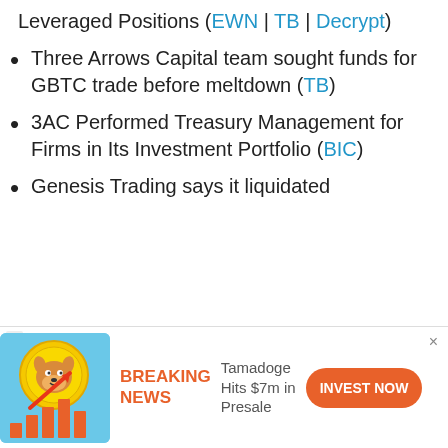Leveraged Positions (EWN | TB | Decrypt)
Three Arrows Capital team sought funds for GBTC trade before meltdown (TB)
3AC Performed Treasury Management for Firms in Its Investment Portfolio (BIC)
Genesis Trading says it liquidated positions of the company...
[Figure (illustration): Advertisement banner with Tamadoge dog coin mascot with bar chart and upward arrow graphic on blue/teal background]
BREAKING NEWS - Tamadoge Hits $7m in Presale - INVEST NOW